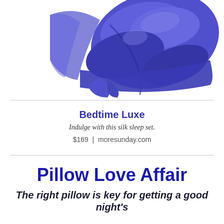[Figure (photo): A folded purple/violet silk sleep set (top and shorts) photographed on a white background, viewed from above at an angle, showing the smooth satin-like fabric.]
Bedtime Luxe
Indulge with this silk sleep set.
$169  |  moresunday.com
Pillow Love Affair
The right pillow is key for getting a good night's